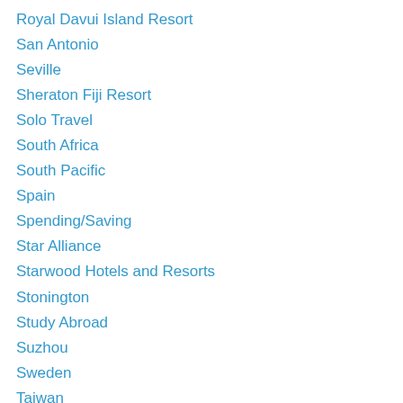Royal Davui Island Resort
San Antonio
Seville
Sheraton Fiji Resort
Solo Travel
South Africa
South Pacific
Spain
Spending/Saving
Star Alliance
Starwood Hotels and Resorts
Stonington
Study Abroad
Suzhou
Sweden
Taiwan
Technology
Texas
The Algonquin Hotel
Toronto